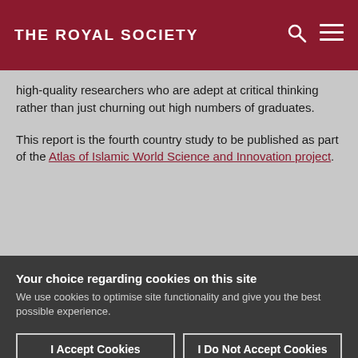THE ROYAL SOCIETY
high-quality researchers who are adept at critical thinking rather than just churning out high numbers of graduates.
This report is the fourth country study to be published as part of the Atlas of Islamic World Science and Innovation project.
Your choice regarding cookies on this site
We use cookies to optimise site functionality and give you the best possible experience.
I Accept Cookies
I Do Not Accept Cookies
Settings